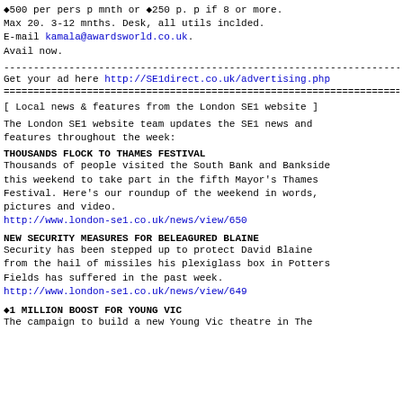&#9670;500 per pers p mnth or &#9670;250 p. p if 8 or more.
Max 20. 3-12 mnths. Desk, all utils inclded.
E-mail kamala@awardsworld.co.uk.
Avail now.
------------------------------------------------------------------------
Get your ad here http://SE1direct.co.uk/advertising.php
========================================================================
[ Local news & features from the London SE1 website ]
The London SE1 website team updates the SE1 news and
features throughout the week:
THOUSANDS FLOCK TO THAMES FESTIVAL
Thousands of people visited the South Bank and Bankside
this weekend to take part in the fifth Mayor's Thames
Festival. Here's our roundup of the weekend in words,
pictures and video.
http://www.london-se1.co.uk/news/view/650
NEW SECURITY MEASURES FOR BELEAGURED BLAINE
Security has been stepped up to protect David Blaine
from the hail of missiles his plexiglass box in Potters
Fields has suffered in the past week.
http://www.london-se1.co.uk/news/view/649
&#9670;1 MILLION BOOST FOR YOUNG VIC
The campaign to build a new Young Vic theatre in The